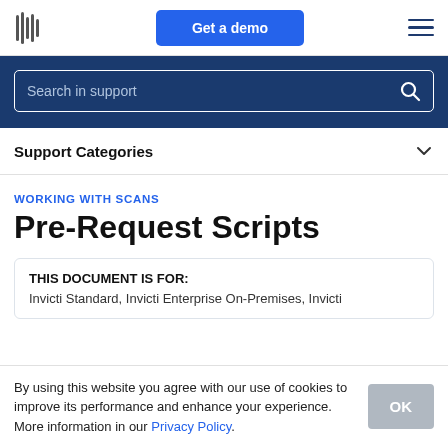Get a demo
Search in support
Support Categories
WORKING WITH SCANS
Pre-Request Scripts
THIS DOCUMENT IS FOR:
Invicti Standard, Invicti Enterprise On-Premises, Invicti
By using this website you agree with our use of cookies to improve its performance and enhance your experience. More information in our Privacy Policy.